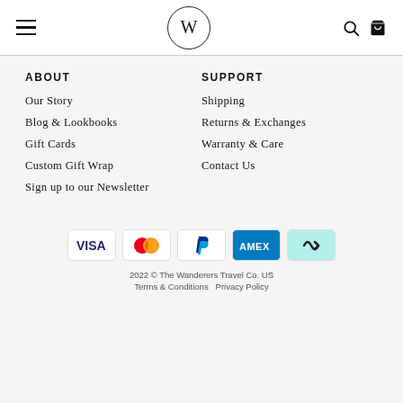W (logo) — navigation header with hamburger menu, W logo in circle, search and cart icons
ABOUT
Our Story
Blog & Lookbooks
Gift Cards
Custom Gift Wrap
Sign up to our Newsletter
SUPPORT
Shipping
Returns & Exchanges
Warranty & Care
Contact Us
[Figure (infographic): Payment method icons: VISA, Mastercard, PayPal, AMEX, afterpay/cashrewards]
2022 © The Wanderers Travel Co. US
Terms & Conditions  Privacy Policy